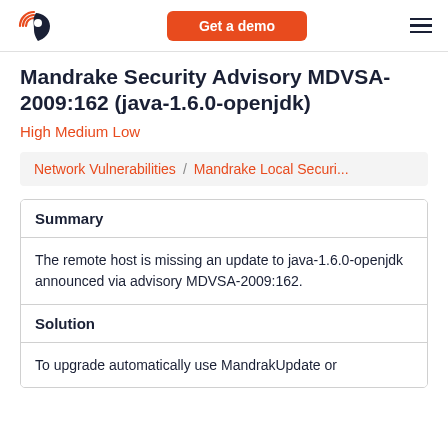Get a demo
Mandrake Security Advisory MDVSA-2009:162 (java-1.6.0-openjdk)
High Medium Low
Network Vulnerabilities / Mandrake Local Securi...
| Summary |
| --- |
| The remote host is missing an update to java-1.6.0-openjdk announced via advisory MDVSA-2009:162. |
| Solution |
| To upgrade automatically use MandrakUpdate or |